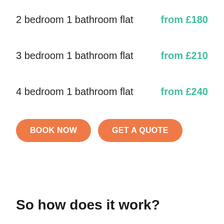2 bedroom 1 bathroom flat   from £180
3 bedroom 1 bathroom flat   from £210
4 bedroom 1 bathroom flat   from £240
[Figure (other): Two orange pill-shaped buttons labelled BOOK NOW and GET A QUOTE]
So how does it work?